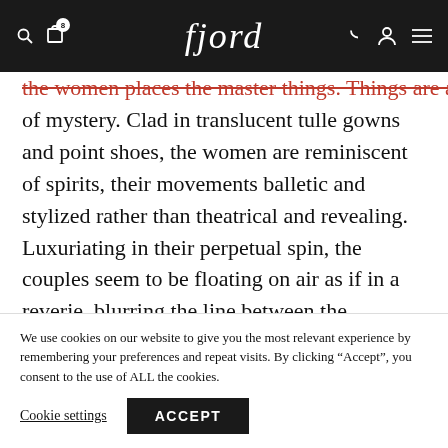fjord
...the women places the master things. Things are all of mystery. Clad in translucent tulle gowns and point shoes, the women are reminiscent of spirits, their movements balletic and stylized rather than theatrical and revealing. Luxuriating in their perpetual spin, the couples seem to be floating on air as if in a reverie, blurring the line between the
We use cookies on our website to give you the most relevant experience by remembering your preferences and repeat visits. By clicking “Accept”, you consent to the use of ALL the cookies.
Cookie settings  ACCEPT